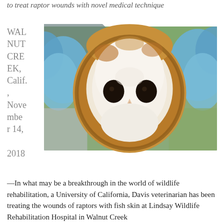to treat raptor wounds with novel medical technique
WALNUT CREEK, Calif., November 14, 2018
[Figure (photo): Close-up photograph of a barn owl being held by gloved hands (blue latex gloves). The owl's distinctive heart-shaped facial disc is prominently featured, with large dark eyes and a small beak. The background is blurred green and gray.]
—In what may be a breakthrough in the world of wildlife rehabilitation, a University of California, Davis veterinarian has been treating the wounds of raptors with fish skin at Lindsay Wildlife Rehabilitation Hospital in Walnut Creek